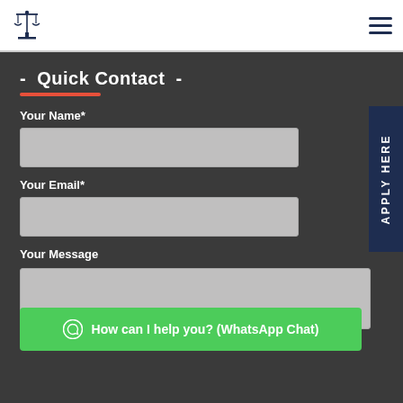[Figure (logo): Legal scales of justice logo icon in dark navy blue]
[Figure (other): Hamburger menu icon (three horizontal lines) in dark navy blue]
- Quick Contact -
Your Name*
Your Email*
Your Message
APPLY HERE
How can I help you? (WhatsApp Chat)